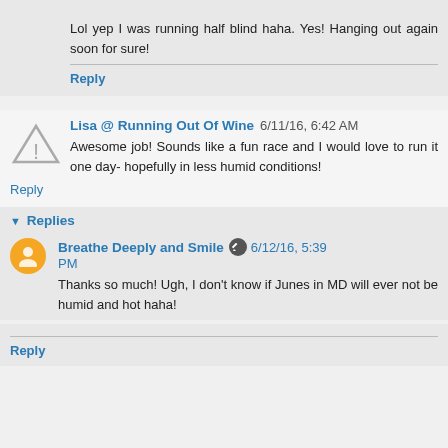Lol yep I was running half blind haha. Yes! Hanging out again soon for sure!
Reply
Lisa @ Running Out Of Wine 6/11/16, 6:42 AM
Awesome job! Sounds like a fun race and I would love to run it one day- hopefully in less humid conditions!
Reply
Replies
Breathe Deeply and Smile 6/12/16, 5:39 PM
Thanks so much! Ugh, I don't know if Junes in MD will ever not be humid and hot haha!
Reply